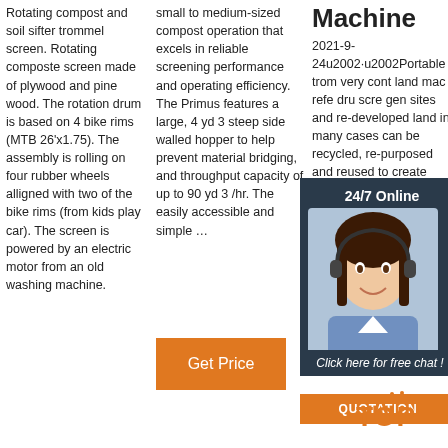Rotating compost and soil sifter trommel screen. Rotating composte screen made of plywood and pine wood. The rotation drum is based on 4 bike rims (MTB 26'x1.75). The assembly is rolling on four rubber wheels alligned with two of the bike rims (from kids play car). The screen is powered by an electric motor from an old washing machine.
small to medium-sized compost operation that excels in reliable screening performance and operating efficiency. The Primus features a large, 4 yd 3 steep side walled hopper to help prevent material bridging, and throughput capacity of up to 90 yd 3 /hr. The easily accessible and simple …
Machine
2021-9-24u2002·u2002Portable trommel screen very cont land mac refe dru scr gen sites and re-developed land in many cases can be recycled, re-purposed and reused to create great organic products for use with
[Figure (other): 24/7 Online support overlay with headset woman photo, Click here for free chat button, QUOTATION button]
[Figure (other): Get Price orange button]
[Figure (logo): TOP logo in orange with dots]